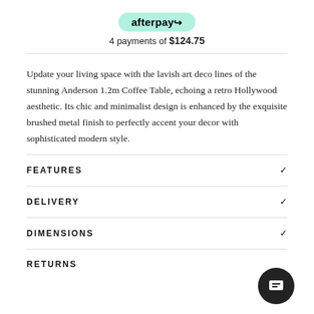[Figure (logo): Afterpay logo badge in mint green rounded rectangle with arrow icon]
4 payments of $124.75
Update your living space with the lavish art deco lines of the stunning Anderson 1.2m Coffee Table, echoing a retro Hollywood aesthetic. Its chic and minimalist design is enhanced by the exquisite brushed metal finish to perfectly accent your decor with sophisticated modern style.
FEATURES
DELIVERY
DIMENSIONS
RETURNS